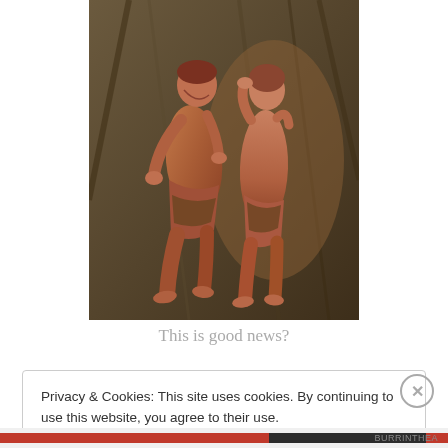[Figure (illustration): A Renaissance-style fresco painting showing two figures, a man and a woman, in a hunched, sorrowful pose. The figures appear to be Adam and Eve after the Fall, depicted in warm earth tones of brown, red, and ochre against a dark background.]
This is good news?
Privacy & Cookies: This site uses cookies. By continuing to use this website, you agree to their use.
To find out more, including how to control cookies, see here: Cookie Policy